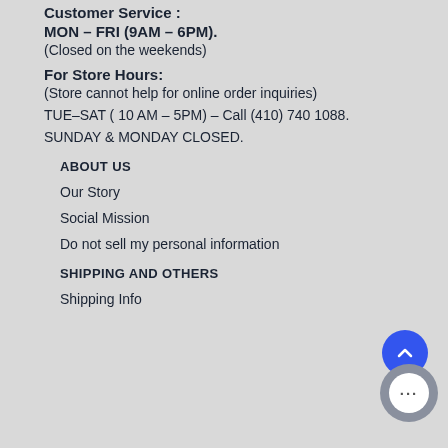Customer Service :
MON – FRI (9AM – 6PM).
(Closed on the weekends)
For Store Hours:
(Store cannot help for online order inquiries)
TUE–SAT ( 10 AM – 5PM) – Call (410) 740 1088.
SUNDAY & MONDAY CLOSED.
ABOUT US
Our Story
Social Mission
Do not sell my personal information
SHIPPING AND OTHERS
Shipping Info